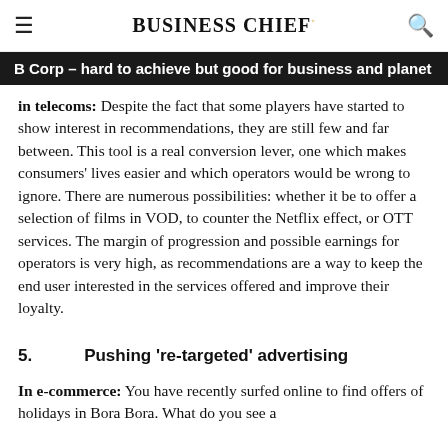BUSINESS CHIEF.
B Corp – hard to achieve but good for business and planet
in telecoms: Despite the fact that some players have started to show interest in recommendations, they are still few and far between. This tool is a real conversion lever, one which makes consumers' lives easier and which operators would be wrong to ignore. There are numerous possibilities: whether it be to offer a selection of films in VOD, to counter the Netflix effect, or OTT services. The margin of progression and possible earnings for operators is very high, as recommendations are a way to keep the end user interested in the services offered and improve their loyalty.
5.          Pushing 're-targeted' advertising
In e-commerce: You have recently surfed online to find offers of holidays in Bora Bora. What do you see a